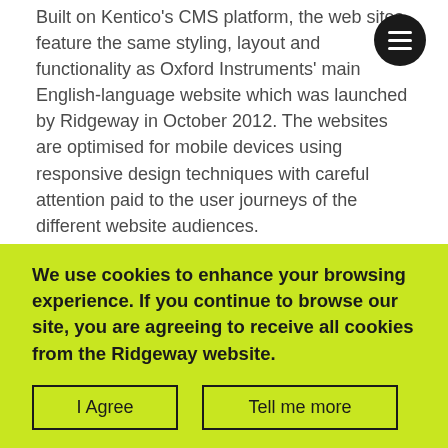Built on Kentico's CMS platform, the web sites feature the same styling, layout and functionality as Oxford Instruments' main English-language website which was launched by Ridgeway in October 2012. The websites are optimised for mobile devices using responsive design techniques with careful attention paid to the user journeys of the different website audiences.
Since the relaunch, the redesigned website has had an extremely positive impact on the volume and quality of the sales and support enquiries. Some
We use cookies to enhance your browsing experience. If you continue to browse our site, you are agreeing to receive all cookies from the Ridgeway website.
I Agree | Tell me more